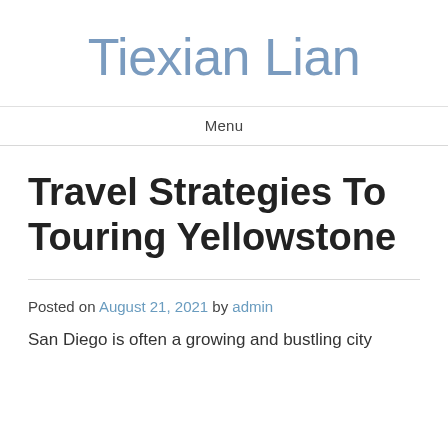Tiexian Lian
Menu
Travel Strategies To Touring Yellowstone
Posted on August 21, 2021 by admin
San Diego is often a growing and bustling city